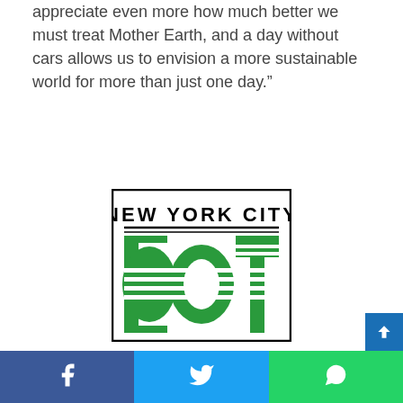appreciate even more how much better we must treat Mother Earth, and a day without cars allows us to envision a more sustainable world for more than just one day.”
[Figure (logo): New York City DOT (Department of Transportation) logo. White rectangle with black border. Text 'NEW YORK CITY' in bold black letters at top with double black underline. Below: three green block letters D, O, T with horizontal white stripe lines through them.]
Facebook | Twitter | WhatsApp share buttons